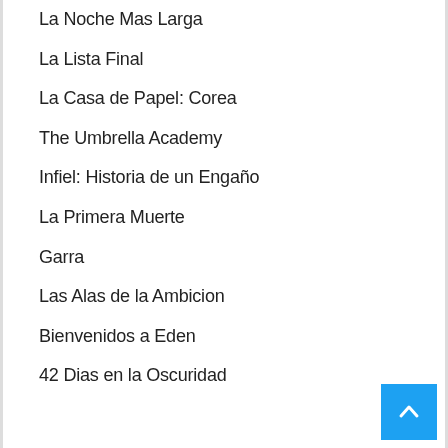La Noche Mas Larga
La Lista Final
La Casa de Papel: Corea
The Umbrella Academy
Infiel: Historia de un Engaño
La Primera Muerte
Garra
Las Alas de la Ambicion
Bienvenidos a Eden
42 Dias en la Oscuridad